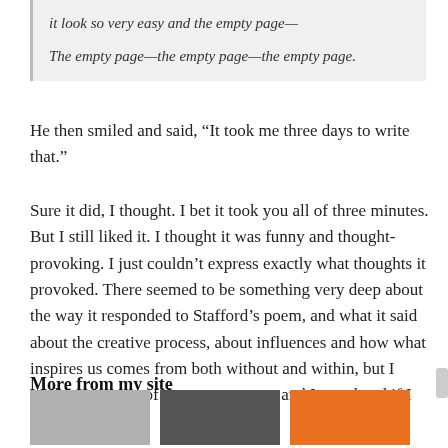it look so very easy and the empty page—

The empty page—the empty page—the empty page.
He then smiled and said, “It took me three days to write that.”
Sure it did, I thought. I bet it took you all of three minutes. But I still liked it. I thought it was funny and thought-provoking. I just couldn’t express exactly what thoughts it provoked. There seemed to be something very deep about the way it responded to Stafford’s poem, and what it said about the creative process, about influences and how what inspires us comes from both without and within, but I couldn’t get any of that to come out, and I wondered if I ever would.
More from my site
[Figure (photo): Three thumbnail images at the bottom of the page]